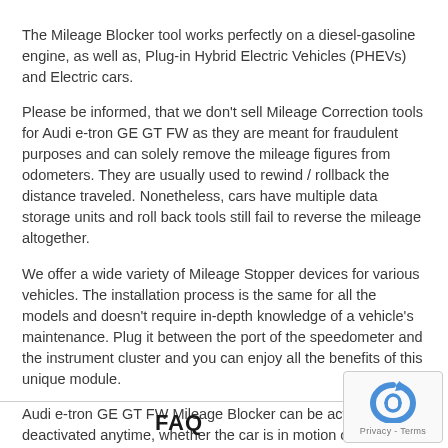The Mileage Blocker tool works perfectly on a diesel-gasoline engine, as well as, Plug-in Hybrid Electric Vehicles (PHEVs) and Electric cars.
Please be informed, that we don't sell Mileage Correction tools for Audi e-tron GE GT FW as they are meant for fraudulent purposes and can solely remove the mileage figures from odometers. They are usually used to rewind / rollback the distance traveled. Nonetheless, cars have multiple data storage units and roll back tools still fail to reverse the mileage altogether.
We offer a wide variety of Mileage Stopper devices for various vehicles. The installation process is the same for all the models and doesn't require in-depth knowledge of a vehicle's maintenance. Plug it between the port of the speedometer and the instrument cluster and you can enjoy all the benefits of this unique module.
Audi e-tron GE GT FW Mileage Blocker can be activated or deactivated anytime, whether the car is in motion or stationery.
FAQ
[Figure (other): reCAPTCHA widget showing a circular arrow icon with Privacy - Terms text below]